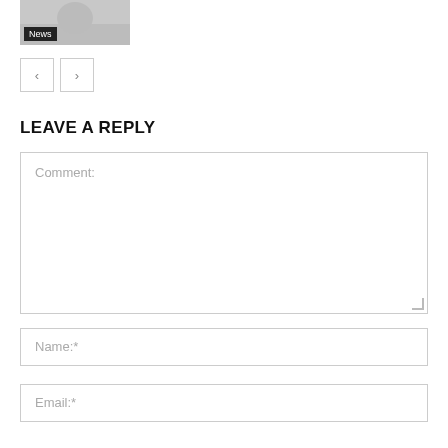[Figure (photo): Thumbnail image with News badge overlay in bottom-left corner]
< >
LEAVE A REPLY
Comment:
Name:*
Email:*